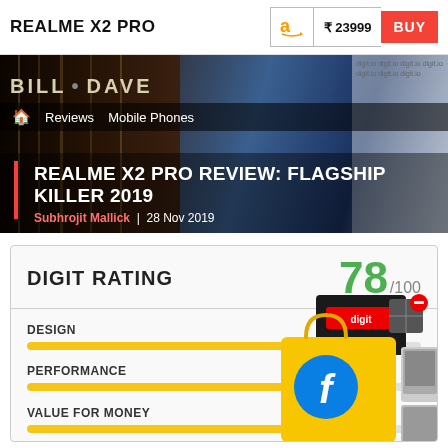REALME X2 PRO   ₹ 23999   BUY
[Figure (photo): Hero image of Realme X2 Pro phone with books background, breadcrumb navigation showing Reviews > Mobile Phones, article title overlay]
REALME X2 PRO REVIEW: FLAGSHIP KILLER 2019
Subhrojit Mallick  |  28 Nov 2019
DIGIT RATING    78 /100
DESIGN
PERFORMANCE
VALUE FOR MONEY    79
[Figure (illustration): Digit rating box graphic with Flipkart shopping bag and product images collage]